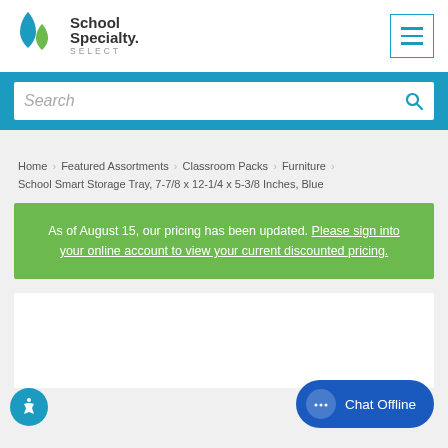[Figure (logo): School Specialty SELECT logo with teal/green icon]
Search
Home \ Featured Assortments \ Classroom Packs \ Furniture \ School Smart Storage Tray, 7-7/8 x 12-1/4 x 5-3/8 Inches, Blue
As of August 15, our pricing has been updated. Please sign into your online account to view your current discounted pricing.
Chat Offline